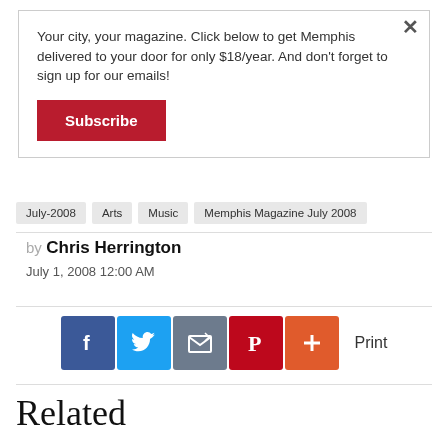Your city, your magazine. Click below to get Memphis delivered to your door for only $18/year. And don't forget to sign up for our emails!
Subscribe
July-2008
Arts
Music
Memphis Magazine July 2008
by Chris Herrington
July 1, 2008 12:00 AM
[Figure (infographic): Social sharing icons: Facebook, Twitter, Email/share, Pinterest, Add (+), followed by Print text label]
Related